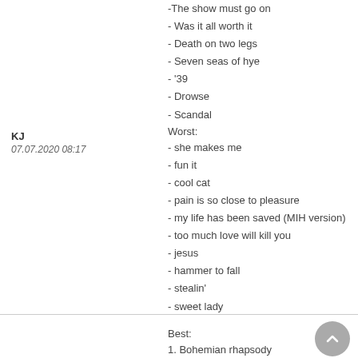-The show must go on
- Was it all worth it
- Death on two legs
- Seven seas of hye
- '39
- Drowse
- Scandal
KJ
07.07.2020 08:17
Worst:
- she makes me
- fun it
- cool cat
- pain is so close to pleasure
- my life has been saved (MIH version)
- too much love will kill you
- jesus
- hammer to fall
- stealin'
- sweet lady
Best:
1. Bohemian rhapsody
- Prophet's song